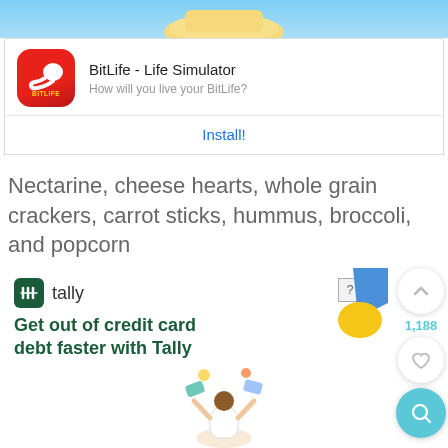[Figure (illustration): Top banner of BitLife app advertisement showing colorful game artwork with light blue sky background]
[Figure (screenshot): App store card for BitLife - Life Simulator with red app icon showing sperm symbol, app title, subtitle 'How will you live your BitLife?', and blue Install button]
Nectarine, cheese hearts, whole grain crackers, carrot sticks, hummus, broccoli, and popcorn
[Figure (screenshot): Tally advertisement: 'Get out of credit card debt faster with Tally' with Tally logo, decorative blue and yellow shapes, illustration of person juggling credit cards, and Download Now button. UI overlay shows up-arrow button, 1,188 vote count, heart button, and teal search button on the right side.]